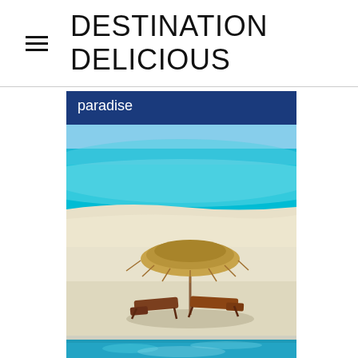DESTINATION DELICIOUS
[Figure (photo): A tropical paradise beach scene with turquoise blue water, white sandy beach with lounge chairs and thatched umbrella on top, and a blue swimming pool at bottom. The image has a dark blue header label reading 'paradise'.]